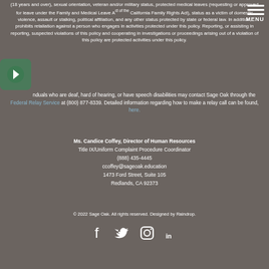(18 years and over), sexual orientation, veteran and/or military status, protected medical leaves (requesting or approved for leave under the Family and Medical Leave Act of the California Family Rights Act), status as a victim of domestic violence, assault or stalking, political affiliation, and any other status protected by state or federal law. In addition, prohibits retaliation against a person who engages in activities protected under this policy. Reporting, or assisting in reporting, suspected violations of this policy and cooperating in investigations or proceedings arising out of a violation of this policy are protected activities under this policy.
Individuals who are deaf, hard of hearing, or have speech disabilities may contact Sage Oak through the Federal Relay Service at (800) 877-8339. Detailed information regarding how to make a relay call can be found, here.
Ms. Candice Coffey, Director of Human Resources
Title IX/Uniform Complaint Procedure Coordinator
(888) 435-4445
ccoffey@sageoak.education
1473 Ford Street, Suite 105
Redlands, CA 92373
© 2022 Sage Oak. All rights reserved. Designed by Raindrop.
[Figure (illustration): Social media icons: Facebook, Twitter, Instagram, LinkedIn]